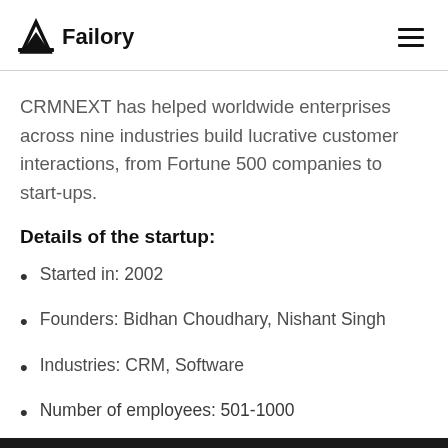Failory
CRMNEXT has helped worldwide enterprises across nine industries build lucrative customer interactions, from Fortune 500 companies to start-ups.
Details of the startup:
Started in: 2002
Founders: Bidhan Choudhary, Nishant Singh
Industries: CRM, Software
Number of employees: 501-1000